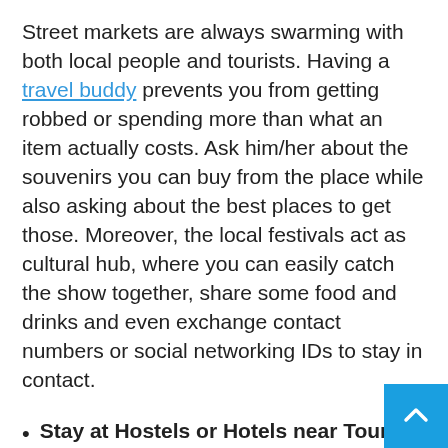Street markets are always swarming with both local people and tourists. Having a travel buddy prevents you from getting robbed or spending more than what an item actually costs. Ask him/her about the souvenirs you can buy from the place while also asking about the best places to get those. Moreover, the local festivals act as cultural hub, where you can easily catch the show together, share some food and drinks and even exchange contact numbers or social networking IDs to stay in contact.
Stay at Hostels or Hotels near Tourist Spots
Finally, coming to the accommodation, try to stay at local hostels if you are not too choosy about privacy but are keen on meeting enthusiastic locals. If hostel is not your option, then try to